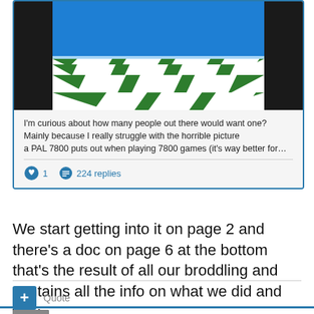[Figure (screenshot): Screenshot card showing a green and white checkered floor with blue sky, from a forum post preview. Contains post text snippet about PAL 7800, a like count of 1, and 224 replies.]
I'm curious about how many people out there would want one? Mainly because I really struggle with the horrible picture a PAL 7800 puts out when playing 7800 games (it's way better for…
1   224 replies
We start getting into it on page 2 and there's a doc on page 6 at the bottom that's the result of all our broddling and contains all the info on what we did and why.
Quote